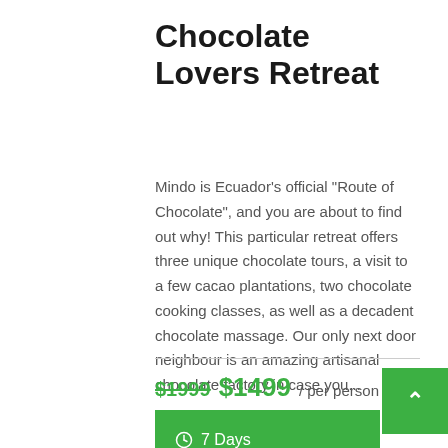Chocolate Lovers Retreat
Mindo is Ecuador's official "Route of Chocolate", and you are about to find out why! This particular retreat offers three unique chocolate tours, a visit to a few cacao plantations, two chocolate cooking classes, as well as a decadent chocolate massage. Our only next door neighbour is an amazing artisanal chocolate factory in case you...
$1999  $1499 / per person
7 Days